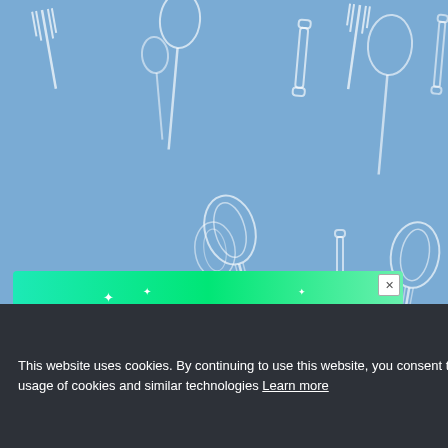[Figure (illustration): Light blue background pattern with white outline kitchen utensils: forks, spoons, whisks, rolling pins repeated across the surface]
Photo by Phoebe Melnick
[Figure (other): Advertisement banner with green/teal gradient background reading 'GO AHEAD, play WITH YOUR FOOD' with sparkle decorations and a close X button]
This website uses cookies. By continuing to use this website, you consent to SpoonUniversity.com's usage of cookies and similar technologies Learn more
[Figure (illustration): Light blue background pattern with white outline kitchen utensils continuing below the ad banner]